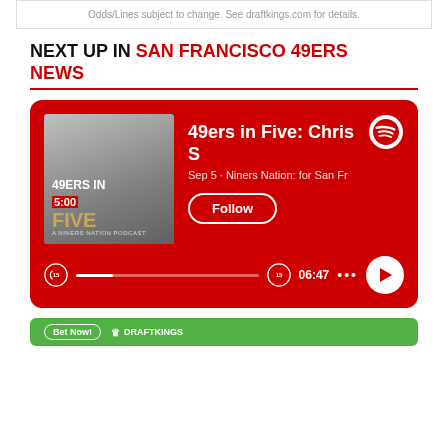Odds/Lines subject to change. See draftkings.com for details.
NEXT UP IN SAN FRANCISCO 49ERS NEWS
[Figure (other): Spotify embedded podcast player card with red background showing '49ers in Five' podcast. Features podcast thumbnail image on left with '49ERS IN FIVE' text and a Niners Nation podcast label. Right side shows title '49ers in Five: Chris S' with subtitle 'Sep 5 · Niners Nation: for San Fr' and a Follow button. Bottom has player controls with skip-back 15, progress bar, skip-forward 15, time 06:47, dots menu, and play button. Spotify logo in top right corner.]
[Figure (logo): DraftKings green bar with Bet Now button and DraftKings logo]